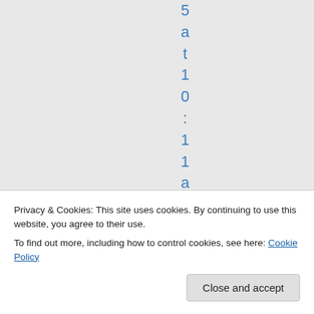5 a t 1 0 : 1 1 a m Y o
Privacy & Cookies: This site uses cookies. By continuing to use this website, you agree to their use. To find out more, including how to control cookies, see here: Cookie Policy
Close and accept